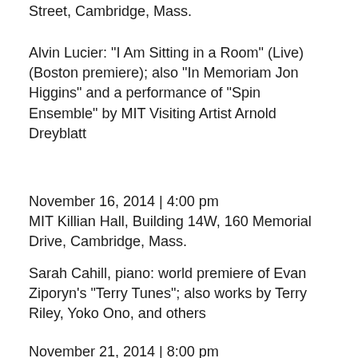Street, Cambridge, Mass.
Alvin Lucier: "I Am Sitting in a Room" (Live) (Boston premiere); also "In Memoriam Jon Higgins" and a performance of "Spin Ensemble" by MIT Visiting Artist Arnold Dreyblatt
November 16, 2014 | 4:00 pm
MIT Killian Hall, Building 14W, 160 Memorial Drive, Cambridge, Mass.
Sarah Cahill, piano: world premiere of Evan Ziporyn's "Terry Tunes"; also works by Terry Riley, Yoko Ono, and others
November 21, 2014 | 8:00 pm
MIT Kresge Auditorium, Building W16, 48